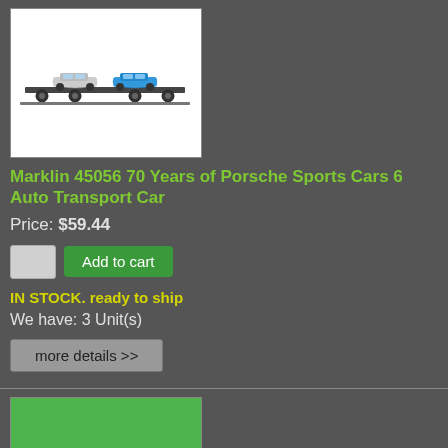[Figure (photo): Product image of Marklin 45056 auto transport car with Porsche sports cars on a flatcar rail wagon, white background]
Marklin 45056 70 Years of Porsche Sports Cars 6 Auto Transport Car
Price: $59.44
Add to cart
IN STOCK. ready to ship
We have: 3 Unit(s)
more details >>
[Figure (photo): Second product image placeholder, green background]